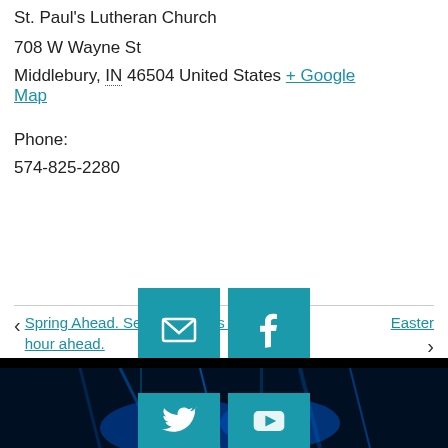St. Paul's Lutheran Church
708 W Wayne St
Middlebury, IN 46504 United States + Google Map
Phone:
574-825-2280
‹ Spring Ahead. Set your clocks one hour ahead.
Easter ›
[Figure (infographic): Social media icon buttons: email envelope icon and Facebook icon in teal/cyan squares, with partial Twitter and YouTube icons visible below in a dark blue photo background]